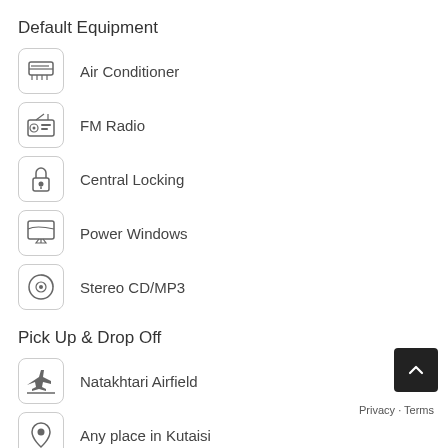Default Equipment
Air Conditioner
FM Radio
Central Locking
Power Windows
Stereo CD/MP3
Pick Up & Drop Off
Natakhtari Airfield
Any place in Kutaisi
Ambrolauri Airport